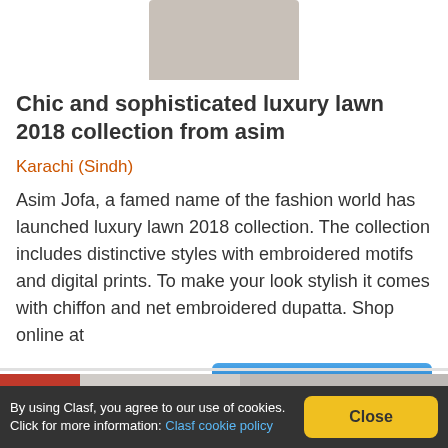[Figure (photo): Partial product image placeholder at top of listing card]
Chic and sophisticated luxury lawn 2018 collection from asim
Karachi (Sindh)
Asim Jofa, a famed name of the fashion world has launched luxury lawn 2018 collection. The collection includes distinctive styles with embroidered motifs and digital prints. To make your look stylish it comes with chiffon and net embroidered dupatta. Shop online at
See product
[Figure (photo): Second product listing image partially visible]
By using Clasf, you agree to our use of cookies. Click for more information: Clasf cookie policy